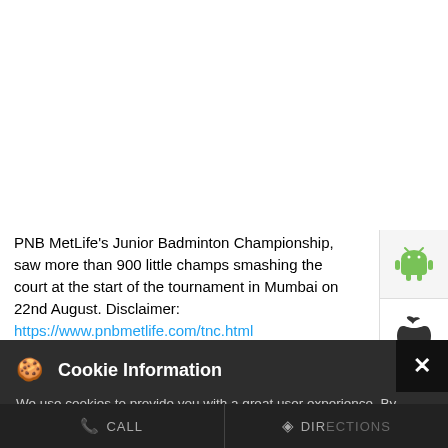PNB MetLife's Junior Badminton Championship, saw more than 900 little champs smashing the court at the start of the tournament in Mumbai on 22nd August. Disclaimer: https://www.pnbmetlife.com/tnc.html #PNBMetLife #MilkarLifeAageBadhaein #Insurance #KaroBadeSapnoKiTayyari #LifeInsurance #JuniorBadmintonChampionship #Mumbai #Participation #YoungTalent #BadmintonStars #AspiringBadmintionPlayers #Badminton
#PNBMetLife
[Figure (screenshot): Android robot icon (green) on light grey background in side panel]
[Figure (screenshot): Apple logo icon (black) on white background in side panel]
Cookie Information
We use cookies to provide you with a great user experience. By using the website, you accept our use of cookies
I ACCEPT
#MilkarLifeAageBadhaein
#Insurance
#LifeInsurance
CALL   DIRECTIONS